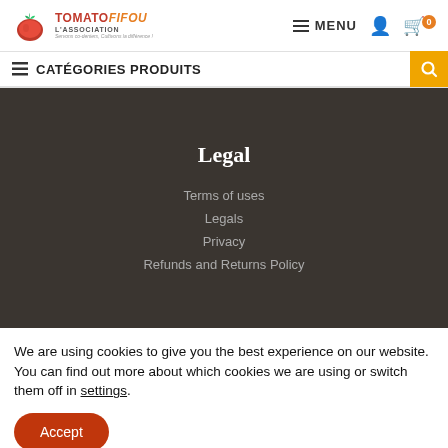TomatoFifou L'Association — MENU
CATÉGORIES PRODUITS
Legal
Terms of uses
Legals
Privacy
Refunds and Returns Policy
We are using cookies to give you the best experience on our website.
You can find out more about which cookies we are using or switch them off in settings.
Accept